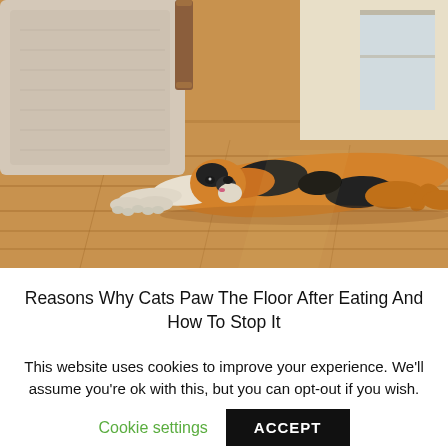[Figure (photo): A calico cat lying stretched out on a wooden floor, with its paws resting against the base of a carpeted stair or ottoman. A window is visible in the background.]
Reasons Why Cats Paw The Floor After Eating And How To Stop It
This website uses cookies to improve your experience. We'll assume you're ok with this, but you can opt-out if you wish.
Cookie settings  ACCEPT